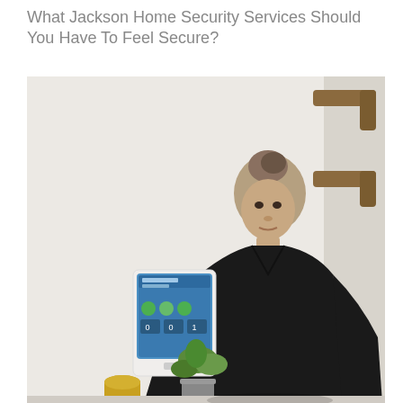What Jackson Home Security Services Should You Have To Feel Secure?
[Figure (photo): A woman in a black outfit standing against a light grey wall looking at a smart home security panel tablet mounted on the wall. There is a small plant and a cylindrical candle holder on a surface below. Two wooden wall pegs are visible in the upper right corner.]